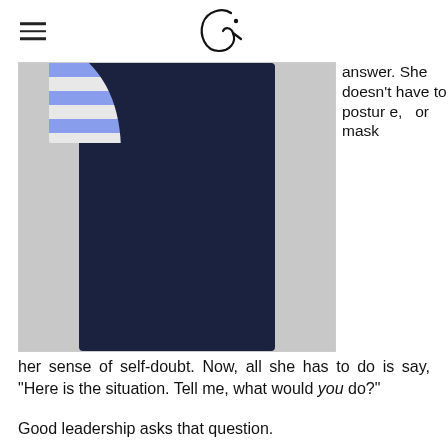G (logo)
[Figure (photo): Person wearing a navy outfit and striped top, photographed from mid-torso down, against a light gray background.]
answer. She doesn't have to posture, or mask her sense of self-doubt. Now, all she has to do is say, "Here is the situation. Tell me, what would you do?"
Good leadership asks that question.
Great leadership creates structures that make every single employee part of the answers.
Phenomenal leadership steps into the creative day-to-day of questioning, discovering, building relationships, and taking the adventure of building business together.